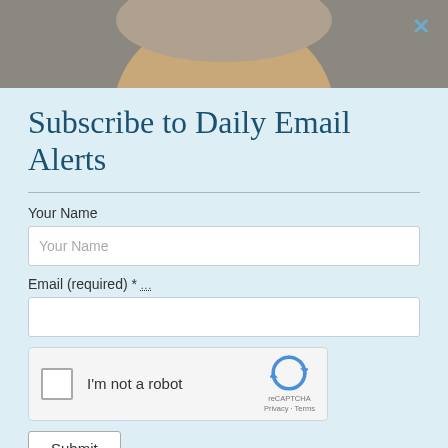[Figure (photo): Partial view of a person's face/head at the top of the page, serving as background image behind the modal]
Subscribe to Daily Email Alerts
Your Name
Email (required) *
[Figure (other): reCAPTCHA widget with checkbox labeled 'I'm not a robot' and reCAPTCHA logo with Privacy - Terms links]
Submit
By submitting this form, you are consenting to receive marketing emails from: News With Views, P.O. Box 990, Spring Branch, TX, 78070-9998,